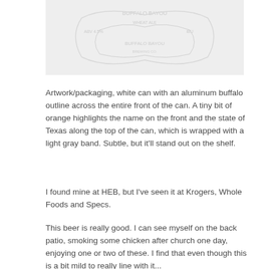[Figure (photo): A faded/washed-out image of what appears to be a beer can packaging, showing text and design elements in light gray tones.]
Artwork/packaging, white can with an aluminum buffalo outline across the entire front of the can. A tiny bit of orange highlights the name on the front and the state of Texas along the top of the can, which is wrapped with a light gray band. Subtle, but it'll stand out on the shelf.
I found mine at HEB, but I've seen it at Krogers, Whole Foods and Specs.
This beer is really good. I can see myself on the back patio, smoking some chicken after church one day, enjoying one or two of these. I find that even though this is a bit mild to really line with it...